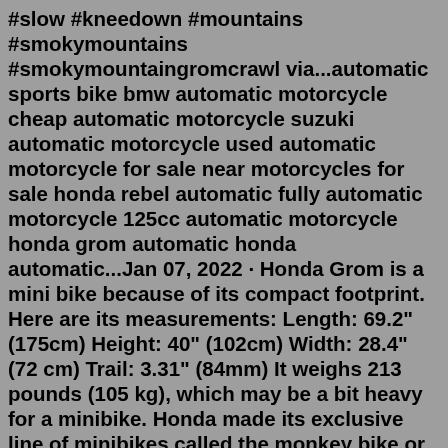#slow #kneedown #mountains #smokymountains #smokymountaingromcrawl via...automatic sports bike bmw automatic motorcycle cheap automatic motorcycle suzuki automatic motorcycle used automatic motorcycle for sale near motorcycles for sale honda rebel automatic fully automatic motorcycle 125cc automatic motorcycle honda grom automatic honda automatic...Jan 07, 2022 · Honda Grom is a mini bike because of its compact footprint. Here are its measurements: Length: 69.2" (175cm) Height: 40" (102cm) Width: 28.4" (72 cm) Trail: 3.31" (84mm) It weighs 213 pounds (105 kg), which may be a bit heavy for a minibike. Honda made its exclusive line of minibikes called the monkey bike or the Z Series. Rugged and easy to handle the 163 pounds and the 28.9 inches that make it easier to control at stops and tight corners. The drum brakes will allow you to stop when needed with room to maneuver. Contact Dominic Negrete at: Work: (562) 945-3494 Cell: (562) 777-5321. Research Honda before buying or leasing honda by insurance to the single the since and